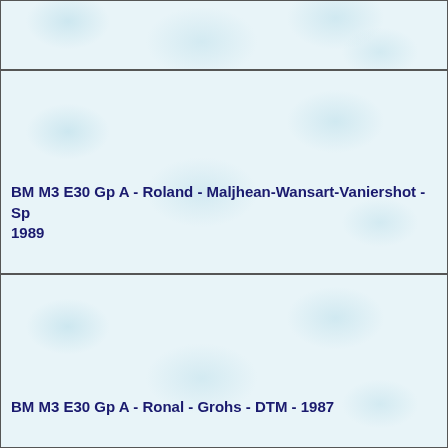[Figure (photo): Top cell with light blue textured background, partial view, no text visible]
BM M3 E30 Gp A - Roland - Maljhean-Wansart-Vaniershot - Sp 1989
BM M3 E30 Gp A - Ronal - Grohs - DTM - 1987